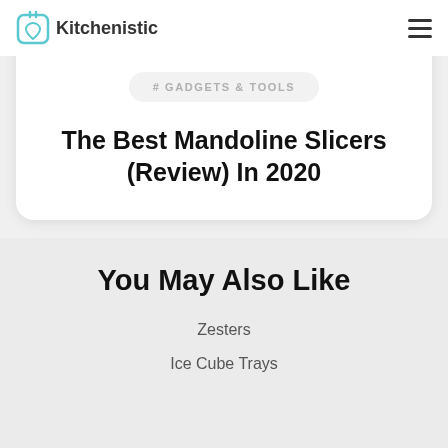Kitchenistic
# GADGETS & TOOLS
The Best Mandoline Slicers (Review) In 2020
You May Also Like
Zesters
Ice Cube Trays